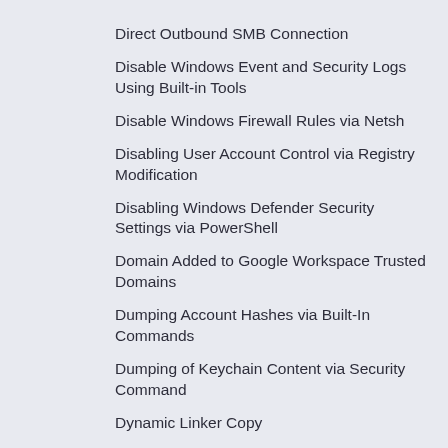Direct Outbound SMB Connection
Disable Windows Event and Security Logs Using Built-in Tools
Disable Windows Firewall Rules via Netsh
Disabling User Account Control via Registry Modification
Disabling Windows Defender Security Settings via PowerShell
Domain Added to Google Workspace Trusted Domains
Dumping Account Hashes via Built-In Commands
Dumping of Keychain Content via Security Command
Dynamic Linker Copy
EggShell Backdoor Execution
Elastic Agent Service Terminated